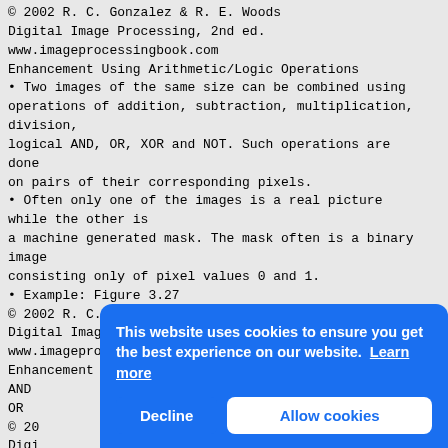© 2002 R. C. Gonzalez & R. E. Woods
Digital Image Processing, 2nd ed.
www.imageprocessingbook.com
Enhancement Using Arithmetic/Logic Operations
Two images of the same size can be combined using operations of addition, subtraction, multiplication, division, logical AND, OR, XOR and NOT. Such operations are done on pairs of their corresponding pixels.
Often only one of the images is a real picture while the other is a machine generated mask. The mask often is a binary image consisting only of pixel values 0 and 1.
Example: Figure 3.27
© 2002 R. C. Gonzalez & R. E. Woods
Digital Image Processing, 2nd ed.
www.imageprocessingbook.com
Enhancement Using Arithmetic/Logic Operations
AND
OR
© 20...
Digi...
Imag...
Exam...
© 20...
www....
Digi...
www....
Imag...
Example 1
When subtracting two images, negative pixel values
[Figure (screenshot): Cookie consent overlay banner with blue background. Text: 'This website uses cookies to ensure you get the best experience on our website. Learn more'. Two buttons: 'Decline' and 'Allow cookies'.]